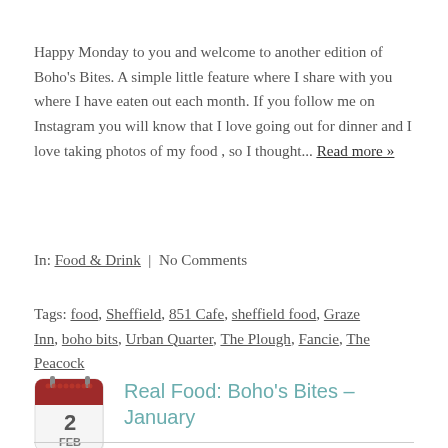Happy Monday to you and welcome to another edition of Boho's Bites. A simple little feature where I share with you where I have eaten out each month. If you follow me on Instagram you will know that I love going out for dinner and I love taking photos of my food , so I thought... Read more »
In: Food & Drink | No Comments
Tags: food, Sheffield, 851 Cafe, sheffield food, Graze Inn, boho bits, Urban Quarter, The Plough, Fancie, The Peacock
[Figure (illustration): Calendar icon showing date 2 FEB with red header and white body]
Real Food: Boho's Bites – January